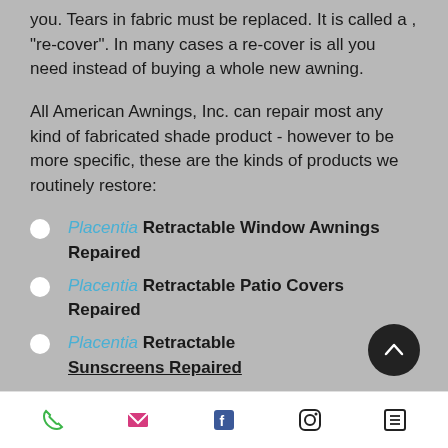you. Tears in fabric must be replaced. It is called a , "re-cover". In many cases a re-cover is all you need instead of buying a whole new awning.
All American Awnings, Inc. can repair most any kind of fabricated shade product - however to be more specific, these are the kinds of products we routinely restore:
Placentia Retractable Window Awnings Repaired
Placentia Retractable Patio Covers Repaired
Placentia Retractable Sunscreens Repaired
Phone | Email | Facebook | Instagram | Menu